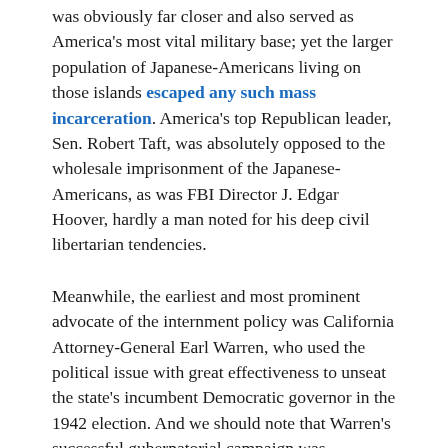was obviously far closer and also served as America's most vital military base; yet the larger population of Japanese-Americans living on those islands escaped any such mass incarceration. America's top Republican leader, Sen. Robert Taft, was absolutely opposed to the wholesale imprisonment of the Japanese-Americans, as was FBI Director J. Edgar Hoover, hardly a man noted for his deep civil libertarian tendencies.
Meanwhile, the earliest and most prominent advocate of the internment policy was California Attorney-General Earl Warren, who used the political issue with great effectiveness to unseat the state's incumbent Democratic governor in the 1942 election. And we should note that Warren's successful gubernatorial campaign was masterminded by Chotiner, a Beverly Hills attorney with strong underworld connections, who later became a good friend and sometime business partner of Korshak and the other members of the Chicago Syndicate circle.
Perhaps Warren and his backers merely believed that demonizing a small and powerless racial minority and